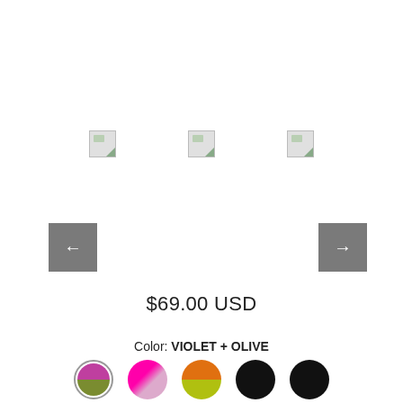[Figure (screenshot): Product image carousel area with three thumbnail placeholder images and left/right navigation arrow buttons]
$69.00 USD
Color: VIOLET + OLIVE
[Figure (other): Color swatches: violet+olive (selected, with border), hot pink+pattern, orange+yellow-green, black, black]
Size
S